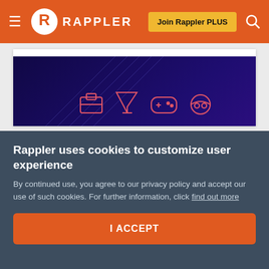≡  R  RAPPLER    Join Rappler PLUS  🔍
[Figure (screenshot): Rappler Hustle section promotional banner with dark navy/purple gradient background, icons for work and play categories, bold red italic text 'WORK AND PLAY', white bold text 'YOUR OWN WAY', and a purple rounded button 'Visit the Hustle home page']
Rappler uses cookies to customize user experience
By continued use, you agree to our privacy policy and accept our use of such cookies. For further information, click find out more
I ACCEPT